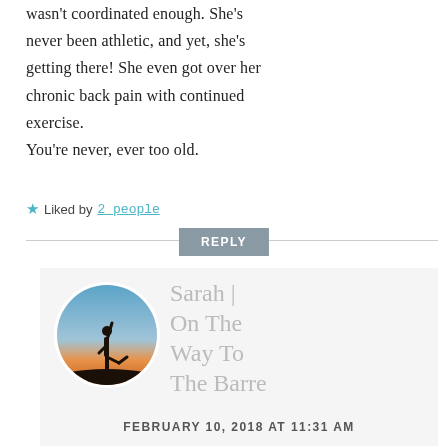wasn't coordinated enough. She's never been athletic, and yet, she's getting there! She even got over her chronic back pain with continued exercise.
You're never, ever too old.
★ Liked by 2 people
REPLY
[Figure (photo): Circular avatar photo of a silhouette of a person doing a yoga/ballet pose at sunset with orange and blue sky]
Sarah | On The Way To The Barre
FEBRUARY 10, 2018 AT 11:31 AM